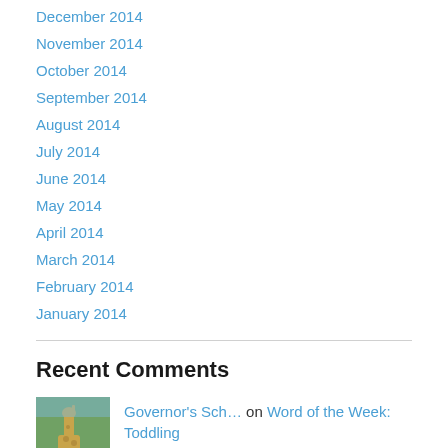December 2014
November 2014
October 2014
September 2014
August 2014
July 2014
June 2014
May 2014
April 2014
March 2014
February 2014
January 2014
Recent Comments
Governor's Sch… on Word of the Week: Toddling
sophieblovett on Raising revolutionaries